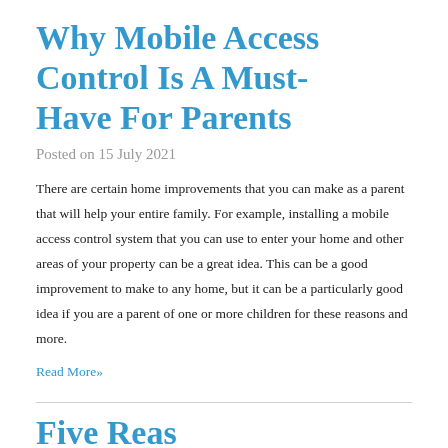Why Mobile Access Control Is A Must-Have For Parents
Posted on 15 July 2021
There are certain home improvements that you can make as a parent that will help your entire family. For example, installing a mobile access control system that you can use to enter your home and other areas of your property can be a great idea. This can be a good improvement to make to any home, but it can be a particularly good idea if you are a parent of one or more children for these reasons and more.
Read More»